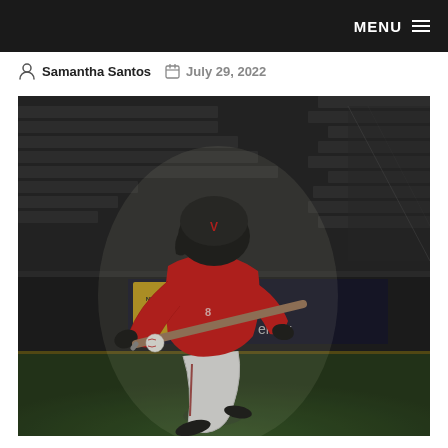MENU ☰
Samantha Santos  July 29, 2022
[Figure (photo): A baseball player in a red jersey and white pants swinging a bat at a pitch at night, with stadium seating and a Nottingham Trent University advertisement banner visible in the background.]